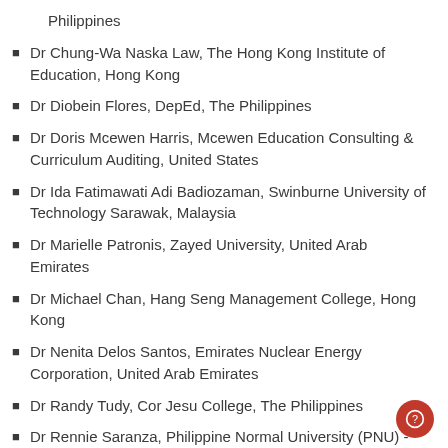Philippines
Dr Chung-Wa Naska Law, The Hong Kong Institute of Education, Hong Kong
Dr Diobein Flores, DepEd, The Philippines
Dr Doris Mcewen Harris, Mcewen Education Consulting & Curriculum Auditing, United States
Dr Ida Fatimawati Adi Badiozaman, Swinburne University of Technology Sarawak, Malaysia
Dr Marielle Patronis, Zayed University, United Arab Emirates
Dr Michael Chan, Hang Seng Management College, Hong Kong
Dr Nenita Delos Santos, Emirates Nuclear Energy Corporation, United Arab Emirates
Dr Randy Tudy, Cor Jesu College, The Philippines
Dr Rennie Saranza, Philippine Normal University (PNU) -